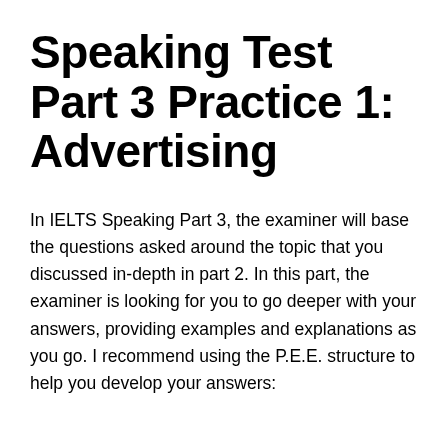Speaking Test Part 3 Practice 1: Advertising
In IELTS Speaking Part 3, the examiner will base the questions asked around the topic that you discussed in-depth in part 2. In this part, the examiner is looking for you to go deeper with your answers, providing examples and explanations as you go. I recommend using the P.E.E. structure to help you develop your answers: